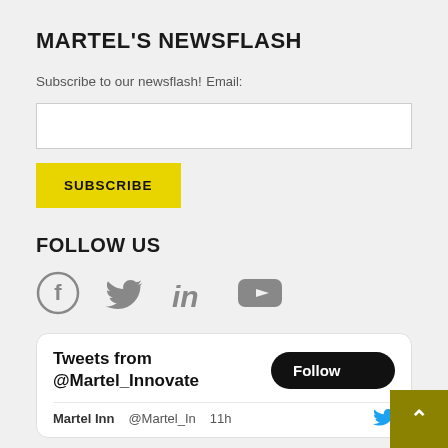MARTEL'S NEWSFLASH
Subscribe to our newsflash!
Email:
FOLLOW US
[Figure (other): Social media icons: Facebook, Twitter, LinkedIn, YouTube - all in grey]
[Figure (screenshot): Twitter widget showing 'Tweets from @Martel_Innovate' with a Follow button and a tweet row showing 'Martel Inn @Martel_In 11h' with Twitter bird icon]
[Figure (other): Yellow scroll-to-top button with up arrow (^) in bottom right corner]